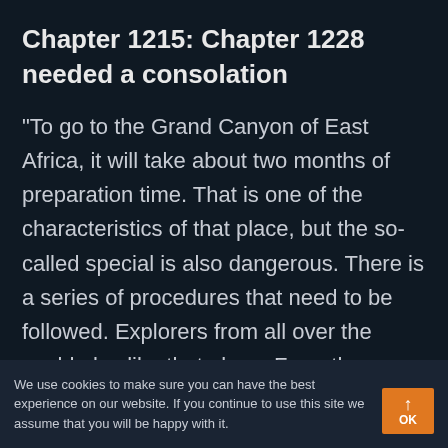Chapter 1215: Chapter 1228 needed a consolation
“To go to the Grand Canyon of East Africa, it will take about two months of preparation time. That is one of the characteristics of that place, but the so-called special is also dangerous. There is a series of procedures that need to be followed. Explorers from all over the world also like that place. From the moment they enter
We use cookies to make sure you can have the best experience on our website. If you continue to use this site we assume that you will be happy with it.